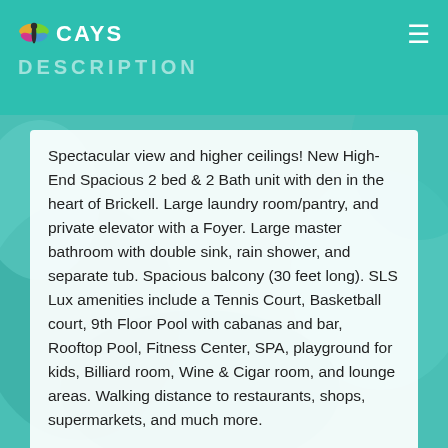CAYS
DESCRIPTION
Spectacular view and higher ceilings! New High-End Spacious 2 bed & 2 Bath unit with den in the heart of Brickell. Large laundry room/pantry, and private elevator with a Foyer. Large master bathroom with double sink, rain shower, and separate tub. Spacious balcony (30 feet long). SLS Lux amenities include a Tennis Court, Basketball court, 9th Floor Pool with cabanas and bar, Rooftop Pool, Fitness Center, SPA, playground for kids, Billiard room, Wine & Cigar room, and lounge areas. Walking distance to restaurants, shops, supermarkets, and much more.